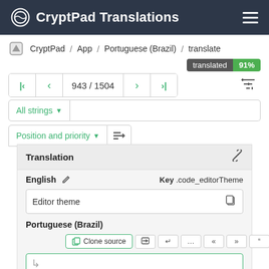CryptPad Translations
CryptPad / App / Portuguese (Brazil) / translate
translated 91%
943 / 1504
All strings
Position and priority
Translation
English  Key .code_editorTheme
Editor theme
Portuguese (Brazil)
Clone source ... « » " " - – —